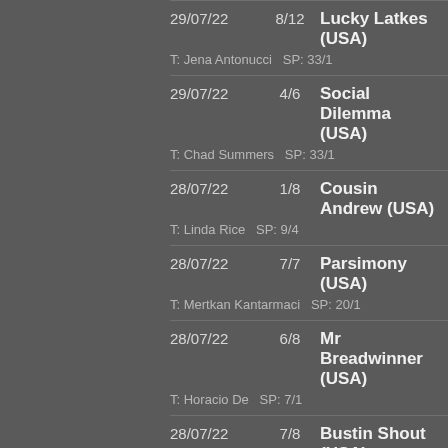29/07/22  8/12  Lucky Latkes (USA)
T: Jena Antonucci  SP: 33/1
29/07/22  4/6  Social Dilemma (USA)
T: Chad Summers  SP: 33/1
28/07/22  1/8  Cousin Andrew (USA)
T: Linda Rice  SP: 9/4
28/07/22  7/7  Parsimony (USA)
T: Mertkan Kantarmaci  SP: 20/1
28/07/22  6/8  Mr Breadwinner (USA)
T: Horacio De  SP: 7/1
28/07/22  7/8  Bustin Shout (USA)
T: Bruce Levine  SP: 9/1
28/07/22  4/10  Showemyourheels (USA)
T: Danny Gargan  SP: 9/1
27/07/22  8/10  Danseur D'Oro (USA)
T: William Morey  SP: 5/1
27/07/22  6/7  Vince The Prince (USA)
T: Michelle Nevin  SP: 16/1